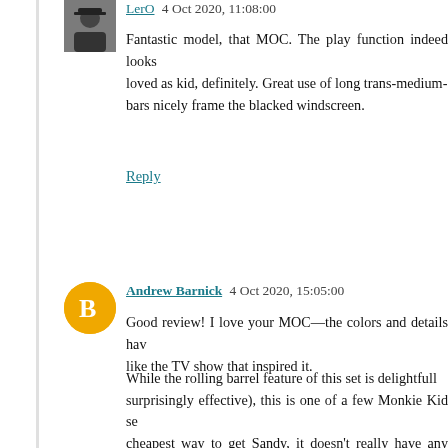LerO  4 Oct 2020, 11:08:00
Fantastic model, that MOC. The play function indeed looks loved as kid, definitely. Great use of long trans-medium- bars nicely frame the blacked windscreen.
Reply
Andrew Barnick  4 Oct 2020, 15:05:00
Good review! I love your MOC—the colors and details hav like the TV show that inspired it.
While the rolling barrel feature of this set is delightfull surprisingly effective), this is one of a few Monkie Kid se cheapest way to get Sandy, it doesn't really have any "exclu its creepy Spider Queen, nor does it really have the "wow  Team Secret HQ.
It might not interest MOCists necessarily, but from a tec surprisingly complex, even for a bigfig. The only actual p and the stripes on his track pants—the other four main col and White) are all molded plastic! Compared to some o Heroes that often share a lower body mold and rely more o this results in the detail being exceptionally crisp. Sandy's